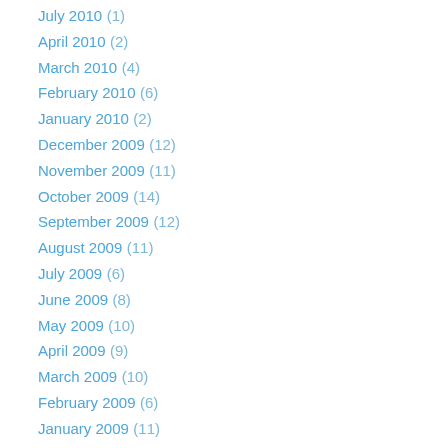July 2010 (1)
April 2010 (2)
March 2010 (4)
February 2010 (6)
January 2010 (2)
December 2009 (12)
November 2009 (11)
October 2009 (14)
September 2009 (12)
August 2009 (11)
July 2009 (6)
June 2009 (8)
May 2009 (10)
April 2009 (9)
March 2009 (10)
February 2009 (6)
January 2009 (11)
December 2008 (19)
November 2008 (12)
October 2008 (18)